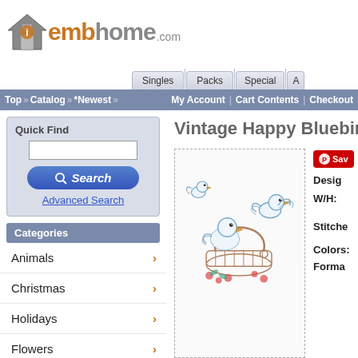[Figure (logo): iembhome.com logo with house icon, orange 'emb' and gray 'home.com' text]
Singles | Packs | Special | A
Top » Catalog » *Newest » My Account | Cart Contents | Checkout
Quick Find
Search
Advanced Search
Categories
Animals
Christmas
Holidays
Flowers
ESL
Vintage Happy Bluebirds 3
[Figure (illustration): Vintage embroidery design of happy bluebirds with a basket and flowers]
Save
Design
W/H:
Stitches:
Colors:
Formats: